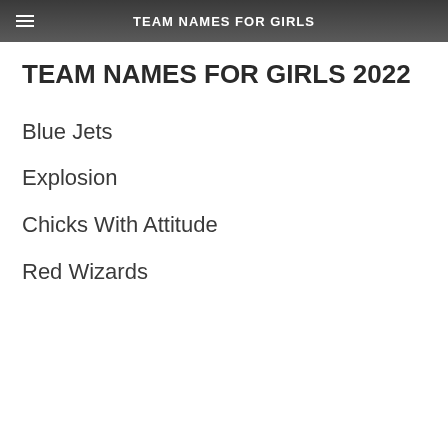TEAM NAMES FOR GIRLS
TEAM NAMES FOR GIRLS 2022
Blue Jets
Explosion
Chicks With Attitude
Red Wizards